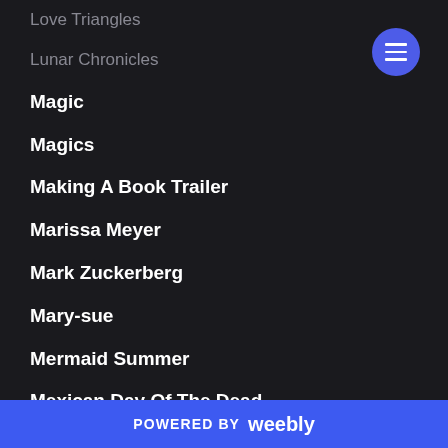Love Triangles
Lunar Chronicles
Magic
Magics
Making A Book Trailer
Marissa Meyer
Mark Zuckerberg
Mary-sue
Mermaid Summer
Mexican Day Of The Dead
Mexican Folk Saint
Miley Cyrus
POWERED BY weebly